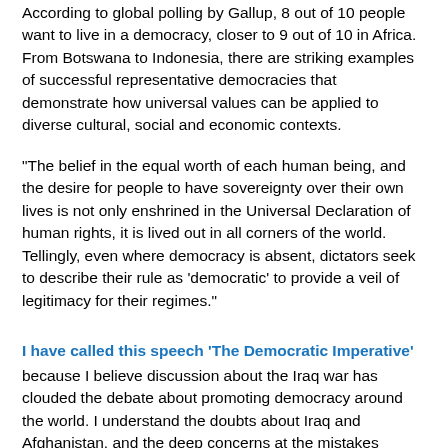According to global polling by Gallup, 8 out of 10 people want to live in a democracy, closer to 9 out of 10 in Africa. From Botswana to Indonesia, there are striking examples of successful representative democracies that demonstrate how universal values can be applied to diverse cultural, social and economic contexts.
"The belief in the equal worth of each human being, and the desire for people to have sovereignty over their own lives is not only enshrined in the Universal Declaration of human rights, it is lived out in all corners of the world. Tellingly, even where democracy is absent, dictators seek to describe their rule as 'democratic' to provide a veil of legitimacy for their regimes."
I have called this speech 'The Democratic Imperative'
because I believe discussion about the Iraq war has clouded the debate about promoting democracy around the world. I understand the doubts about Iraq and Afghanistan, and the deep concerns at the mistakes made. But my plea is that we do not let divisions over